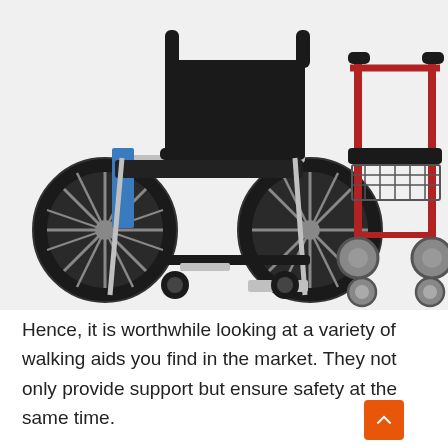[Figure (photo): Two mobility aids side by side on a white/light grey background: on the left, a black standard manual wheelchair with chrome frame, large rear wheels, small front caster wheels, and a blue side panel; on the right, a red rollator walker with black padded seat, wire basket underneath, and four small grey wheels.]
Hence, it is worthwhile looking at a variety of walking aids you find in the market. They not only provide support but ensure safety at the same time.
Since there are multiple walking devices and mobility